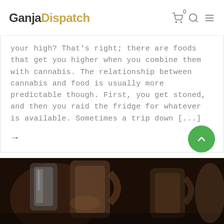GanjaDispatch — navigation with logo, cart (0), search, menu
your high? That's right; there are foods that get you higher when you combine them with cannabis. The relationship between cannabis and food is usually more predictable though. First, you get stoned, and then you raid the fridge for whatever is available. Sometimes a trip down [...]
→
[Figure (photo): Dark background photo showing metallic pitchers/mugs on a surface, partially visible at the bottom of the page.]